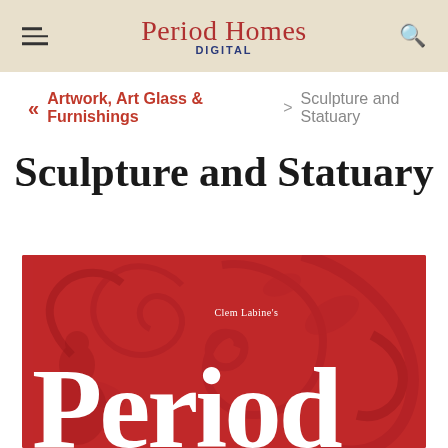Period Homes DIGITAL
« Artwork, Art Glass & Furnishings > Sculpture and Statuary
Sculpture and Statuary
[Figure (photo): Red magazine cover showing 'Clem Labine's Period Homes' magazine cover with decorative scroll design on dark red background]